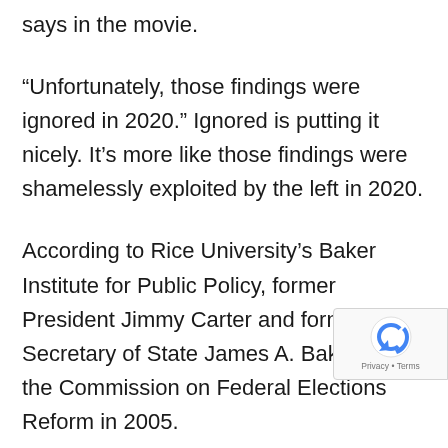says in the movie.
“Unfortunately, those findings were ignored in 2020.” Ignored is putting it nicely. It’s more like those findings were shamelessly exploited by the left in 2020.
According to Rice University’s Baker Institute for Public Policy, former President Jimmy Carter and former U.S. Secretary of State James A. Baker led the Commission on Federal Elections Reform in 2005.
The commission wrote a report on election
[Figure (logo): Google reCAPTCHA badge with blue arrow icon and Privacy - Terms text]